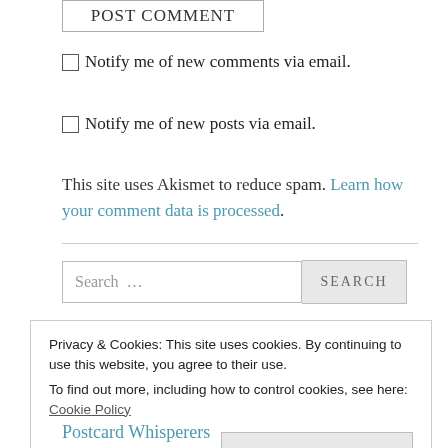POST COMMENT
Notify me of new comments via email.
Notify me of new posts via email.
This site uses Akismet to reduce spam. Learn how your comment data is processed.
Search …  SEARCH
Privacy & Cookies: This site uses cookies. By continuing to use this website, you agree to their use.
To find out more, including how to control cookies, see here: Cookie Policy
Close and accept
Postcard Whisperers